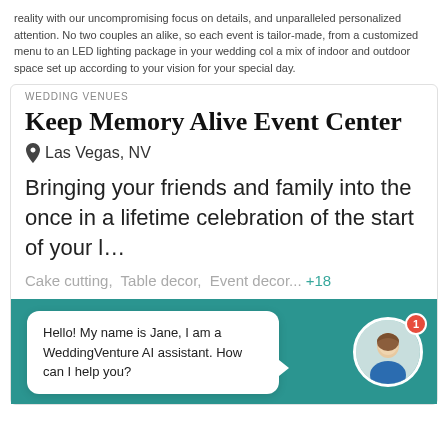reality with our uncompromising focus on details, and unparalleled personalized attention. No two couples are alike, so each event is tailor-made, from a customized menu to an LED lighting package in your wedding color, a mix of indoor and outdoor space set up according to your vision for your special day.
WEDDING VENUES
Keep Memory Alive Event Center
Las Vegas, NV
Bringing your friends and family into the once in a lifetime celebration of the start of your l…
Cake cutting,  Table decor,  Event decor...  +18
Hello! My name is Jane, I am a WeddingVenture AI assistant. How can I help you?